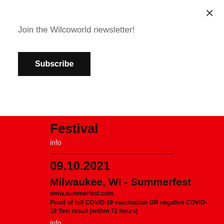Join the Wilcoworld newsletter!
Subscribe
Festival
info
09.10.2021
Milwaukee, WI - Summerfest
www.summerfest.com
Proof of full COVID-19 vaccination OR negative COVID-19 Test result (within 72 hours)
info
08.29.2021